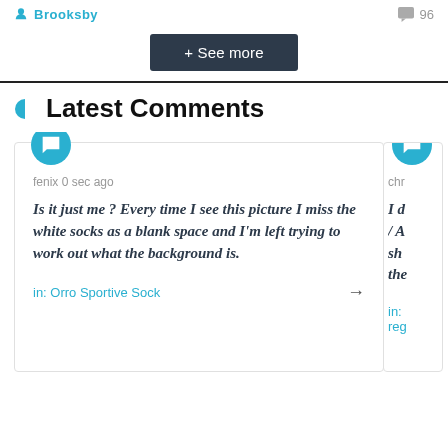Brooksby
96
+ See more
Latest Comments
fenix 0 sec ago
Is it just me ? Every time I see this picture I miss the white socks as a blank space and I'm left trying to work out what the background is.
in: Orro Sportive Sock
chr
I d / A sh the
in: reg